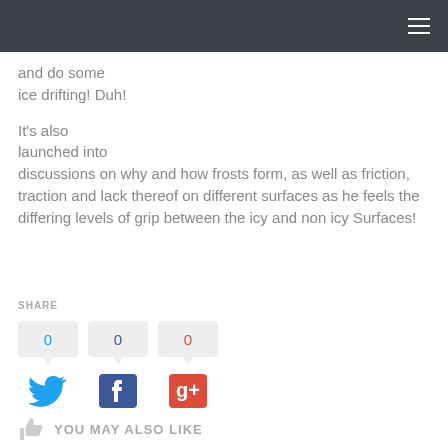and do some ice drifting! Duh!
It’s also launched into discussions on why and how frosts form, as well as friction, traction and lack thereof on different surfaces as he feels the differing levels of grip between the icy and non icy Surfaces!
SHARE
0  0  0
[Figure (infographic): Social share buttons: Twitter (0), Facebook (0), Google+ (0) with count bubbles above each icon]
YOU MAY ALSO LIKE